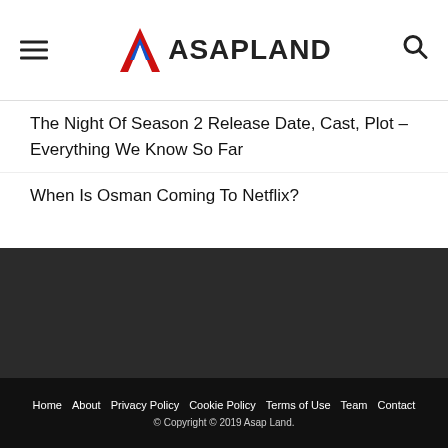ASAPLAND
The Night Of Season 2 Release Date, Cast, Plot – Everything We Know So Far
When Is Osman Coming To Netflix?
Home  About  Privacy Policy  Cookie Policy  Terms of Use  Team  Contact
© Copyright © 2019 Asap Land.